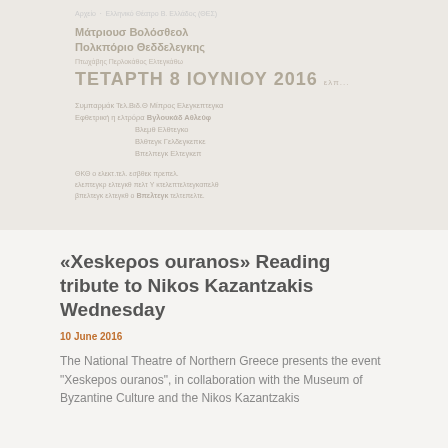Αρχείο - Ελληνικό Θέατρο Β. Ελλάδος (ΘΕΣ)
Μάτριουσ Βολόσθεολ
Πολκπόριο Θεδδελεγκης
Πτωχάβης Περλοκάθος Ελτεγκάθω
ΤΕΤΑΡΤΗ 8 ΙΟΥΝΙΟΥ 2016 ελπ...
Συμπαρμάκ Τελ.Βιδ.Θ Μίπρος Ελεγκεπτεγκα
Εφθετρική η ελτρόρα Βγλουκάδ Αθλεύφ
Βλεμθ Ελθτεγκο
Βλθτεγκ Γελδεγκεπκε
Βπελπεγκ Ελτεγκεπ
ΘΚΘ ο ελεκτ.τελ. εσβθεκ πρεπελ.
ελεπτεγκρ ελτεγκθ πελτ Υ κτελεπτελτεγκαπελθ
βπελτεγκ ελτεγκθ ο Βπελτεγκ τελτεπελτε.
«Xeskepοs ouranos» Reading tribute to Nikos Kazantzakis Wednesday
10 June 2016
The National Theatre of Northern Greece presents the event "Xeskepοs ouranos", in collaboration with the Museum of Byzantine Culture and the Nikos Kazantzakis